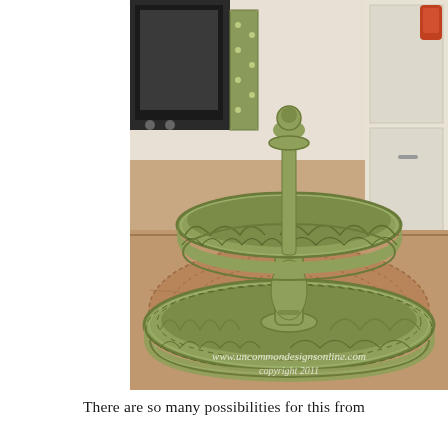[Figure (photo): A two-tiered decorative green painted metal tray stand on a kitchen counter. The stand features ornate lattice-pattern circular trays painted in sage/olive green, connected by a turned pedestal column. A woven basket/rug is visible on the counter, with kitchen appliances and white cabinetry in the background. A green polka-dot dish towel hangs on the left. Watermark reads: www.uncommondesignsonline.com copyright 2011]
There are so many possibilities for this from